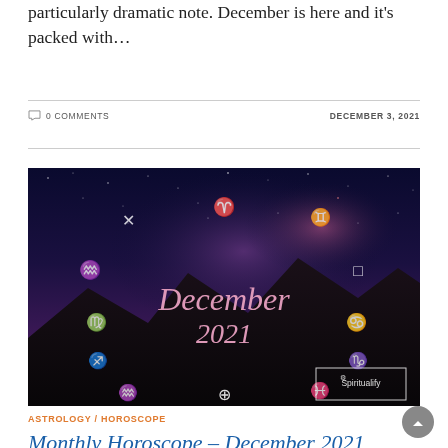particularly dramatic note. December is here and it's packed with…
0 COMMENTS   DECEMBER 3, 2021
[Figure (illustration): Night sky with zodiac symbols and mountains. Text reads 'December 2021' in pink/rose script. Spiritualify logo in bottom right corner. White zodiac glyphs arranged around the image perimeter.]
ASTROLOGY / HOROSCOPE
Monthly Horoscope – December 2021